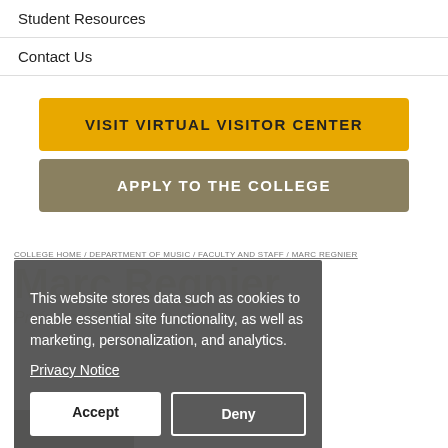Student Resources
Contact Us
VISIT VIRTUAL VISITOR CENTER
APPLY TO THE COLLEGE
COLLEGE HOME / DEPARTMENT OF MUSIC / FACULTY AND STAFF / MARC REGNIER
Marc Regnier
Professor, Classical Guitar
[Figure (photo): Portrait photo of Marc Regnier]
This website stores data such as cookies to enable essential site functionality, as well as marketing, personalization, and analytics.
Privacy Notice
Accept  Deny